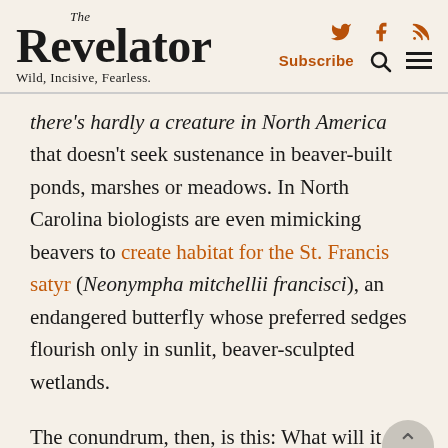The Revelator — Wild, Incisive, Fearless.
there's hardly a creature in North America that doesn't seek sustenance in beaver-built ponds, marshes or meadows. In North Carolina biologists are even mimicking beavers to create habitat for the St. Francis satyr (Neonympha mitchellii francisci), an endangered butterfly whose preferred sedges flourish only in sunlit, beaver-sculpted wetlands.
The conundrum, then, is this: What will it take to square beavers' proclivity for